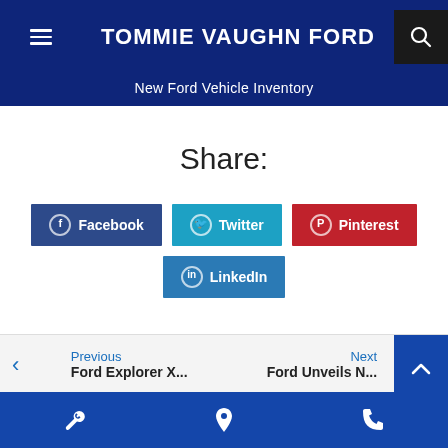TOMMIE VAUGHN FORD — New Ford Vehicle Inventory
Share:
Facebook
Twitter
Pinterest
LinkedIn
Previous
Ford Explorer X...
Next
Ford Unveils N...
Service | Location | Phone